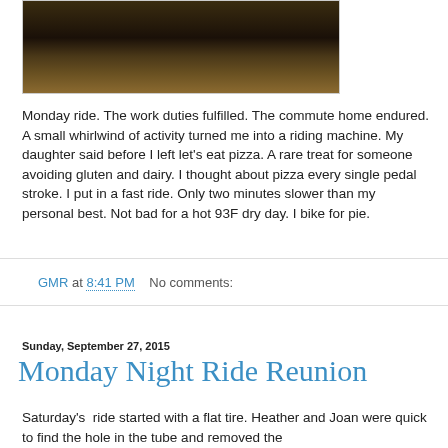[Figure (photo): Dark outdoor photo showing dry grass and vegetation in muted brown tones]
Monday ride. The work duties fulfilled. The commute home endured. A small whirlwind of activity turned me into a riding machine. My daughter said before I left let's eat pizza. A rare treat for someone avoiding gluten and dairy. I thought about pizza every single pedal stroke. I put in a fast ride. Only two minutes slower than my personal best. Not bad for a hot 93F dry day. I bike for pie.
GMR at 8:41 PM    No comments:
Sunday, September 27, 2015
Monday Night Ride Reunion
Saturday's  ride started with a flat tire. Heather and Joan were quick to find the hole in the tube and removed the